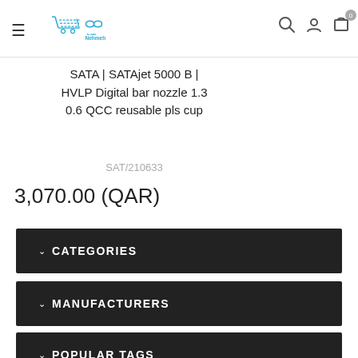Nehmeh online store header with logo, hamburger menu, search, account, and cart icons
SATA | SATAjet 5000 B | HVLP Digital bar nozzle 1.3 0.6 QCC reusable pls cup
SAT/210633
3,070.00 (QAR)
CATEGORIES
MANUFACTURERS
POPULAR TAGS